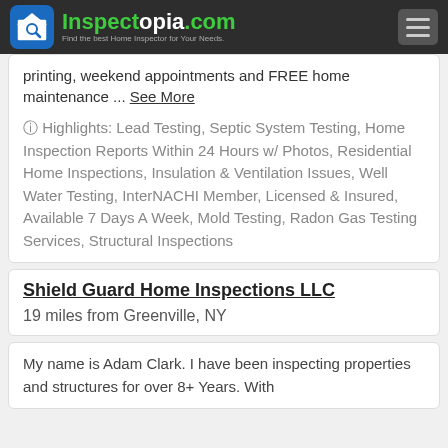Inspectopia.com - Find the best Home Inspector for Your Needs.
printing, weekend appointments and FREE home maintenance ... See More
Highlights: Lead Testing, Septic System Testing, Home Inspection Reports Within 24 Hours w/ Photos, Residential Home Inspections, Insulation & Ventilation Issues, Well Water Testing, InterNACHI Member, Licensed & Insured, Available 7 Days A Week, Mold Testing, Radon Gas Testing Services, Structural Inspections
Shield Guard Home Inspections LLC
19 miles from Greenville, NY
My name is Adam Clark. I have been inspecting properties and structures for over 8+ Years. With